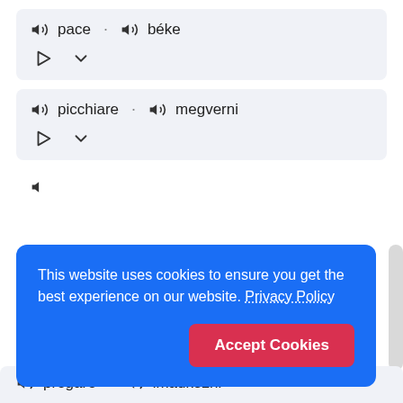[Figure (screenshot): Language learning flashcard app showing Italian-Hungarian word pairs with speaker icons, play buttons, and chevron controls. A cookie consent overlay covers part of the page.]
pace · béke
picchiare · megverni
This website uses cookies to ensure you get the best experience on our website. Privacy Policy
Accept Cookies
pregare · imádkozni